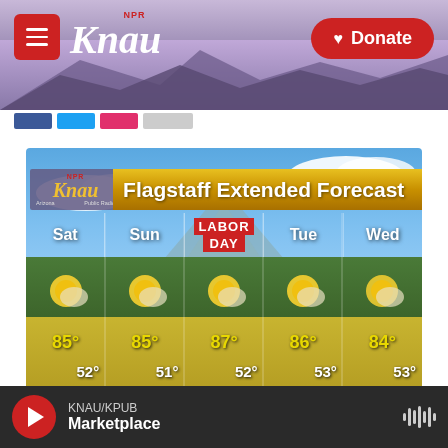[Figure (screenshot): KNAU NPR radio website header with purple mountain background, hamburger menu button, KNAU logo, and red Donate button]
[Figure (infographic): Flagstaff Extended Forecast weather graphic showing 5-day forecast: Sat 85°/52°, Sun 85°/51°, Labor Day (Mon) 87°/52°, Tue 86°/53°, Wed 84°/53°. All days show sunny with clouds icons. KNAU logo in top left, gold banner title bar.]
KNAU/KPUB Marketplace